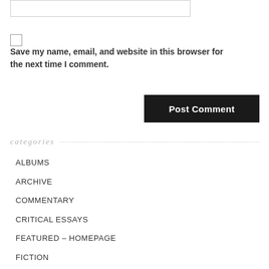[Figure (screenshot): A text input box (form field) at the top of the page]
Save my name, email, and website in this browser for the next time I comment.
Post Comment
categories
ALBUMS
ARCHIVE
COMMENTARY
CRITICAL ESSAYS
FEATURED – HOMEPAGE
FICTION
FILM